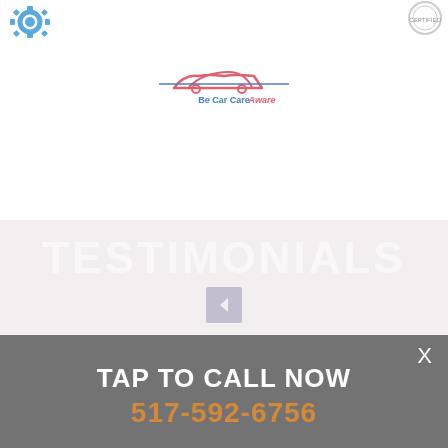[Figure (logo): Blue gear/cog logo in top left corner]
[Figure (logo): Circular badge/seal logo in top right corner]
[Figure (logo): Be Car Care Aware logo centered, featuring a car silhouette outline in red/pink and blue with text below]
TESTIMONIALS
[Figure (other): Left-pointing arrow navigation icon in a grey box]
X
TAP TO CALL NOW
517-592-6756